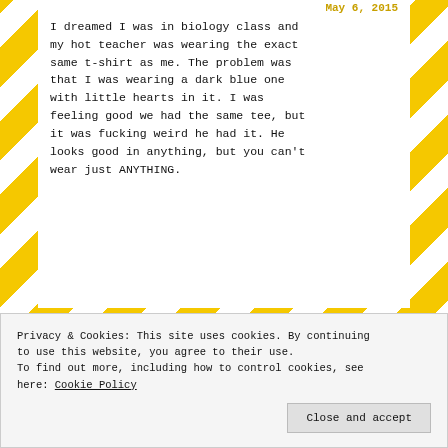May 6, 2015
I dreamed I was in biology class and my hot teacher was wearing the exact same t-shirt as me. The problem was that I was wearing a dark blue one with little hearts in it. I was feeling good we had the same tee, but it was fucking weird he had it. He looks good in anything, but you can't wear just ANYTHING.
[Figure (infographic): Advertisement for P2 service: 'Getting your team on the same page is easy. And free.' with P2 logo and REPORT THIS AD text]
Privacy & Cookies: This site uses cookies. By continuing to use this website, you agree to their use.
To find out more, including how to control cookies, see here: Cookie Policy
Close and accept